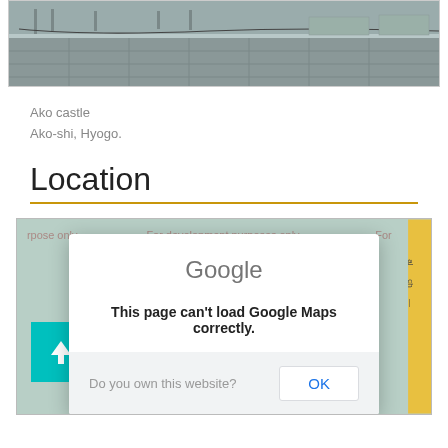[Figure (photo): Panoramic photo of Ako castle grounds showing stone paving and walls]
Ako castle
Ako-shi, Hyogo.
Location
[Figure (screenshot): Screenshot of a map area with a Google Maps error dialog. The dialog shows 'Google' header, message 'This page can't load Google Maps correctly.', and a footer with 'Do you own this website?' and an OK button. An upload/scroll-to-top button (teal with upward arrow) is visible in the lower left.]